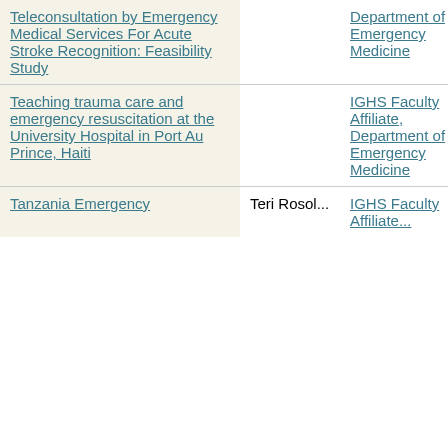| Teleconsultation by Emergency Medical Services For Acute Stroke Recognition: Feasibility Study |  | Department of Emergency Medicine | 1/1/14 | 12/31/14 |
| Teaching trauma care and emergency resuscitation at the University Hospital in Port Au Prince, Haiti |  | IGHS Faculty Affiliate, Department of Emergency Medicine | 7/1/15 | 6/30/16 |
| Tanzania Emergency... | Teri Rosol... | IGHS Faculty Affiliate... | 1/1/15 | 6/30/16 |